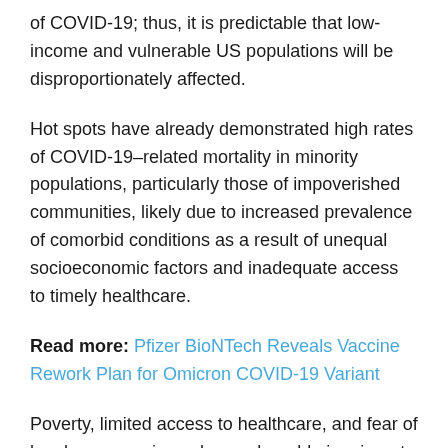of COVID-19; thus, it is predictable that low-income and vulnerable US populations will be disproportionately affected.
Hot spots have already demonstrated high rates of COVID-19–related mortality in minority populations, particularly those of impoverished communities, likely due to increased prevalence of comorbid conditions as a result of unequal socioeconomic factors and inadequate access to timely healthcare.
Read more: Pfizer BioNTech Reveals Vaccine Rework Plan for Omicron COVID-19 Variant
Poverty, limited access to healthcare, and fear of legal repercussions place vulnerable immigrant communities within the US at high risk for acquiring SARS-CoV-2 and developing severe COVID-19.